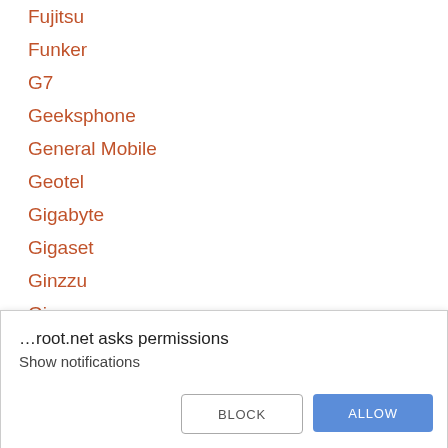Fujitsu
Funker
G7
Geeksphone
General Mobile
Geotel
Gigabyte
Gigaset
Ginzzu
Gionee
GNet
…root.net asks permissions
Show notifications
BLOCK
ALLOW